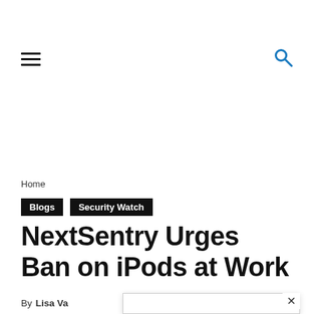☰ [search icon]
Home
Blogs  Security Watch
NextSentry Urges Ban on iPods at Work
By Lisa Va